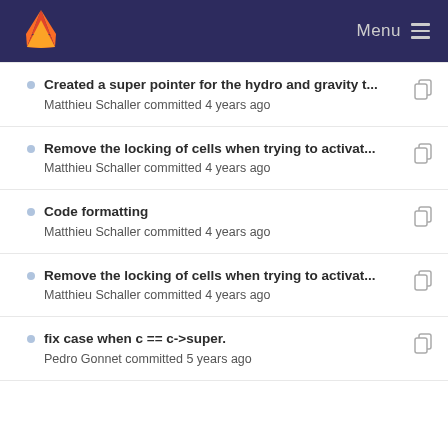GitLab Menu
Created a super pointer for the hydro and gravity t...
Matthieu Schaller committed 4 years ago
Remove the locking of cells when trying to activat...
Matthieu Schaller committed 4 years ago
Code formatting
Matthieu Schaller committed 4 years ago
Remove the locking of cells when trying to activat...
Matthieu Schaller committed 4 years ago
fix case when c == c->super.
Pedro Gonnet committed 5 years ago
Created a super pointer for the hydro and gravity t...
Matthieu Schaller committed 4 years ago